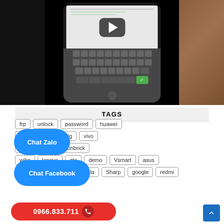[Figure (screenshot): Video thumbnail showing a smartphone with keyboard visible on screen, YouTube play button overlay, placed on a wooden surface with glasses. Black background on sides.]
TAGS
frp
unlock
password
huawei
xiaomi
rom
lg
vivo
nokia
sony
unbrick
wiko
lenovo
zte
demo
Vsmart
asus
meizu
alcatel
motorola
Sharp
google
redmi
Chat Zalo
Chat Facebook
0966.833.711